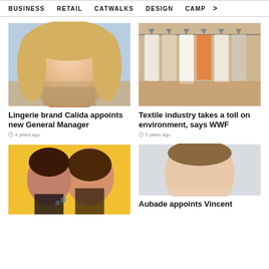BUSINESS   RETAIL   CATWALKS   DESIGN   CAMP >
[Figure (photo): Portrait photo of blonde woman smiling]
Lingerie brand Calida appoints new General Manager
4 years ago
[Figure (photo): Clothing hanging on racks in a store]
Textile industry takes a toll on environment, says WWF
5 years ago
[Figure (photo): Man and woman posing in front of yellow background, man has beard and tattoos]
[Figure (photo): Portrait photo of young man]
Aubade appoints Vincent